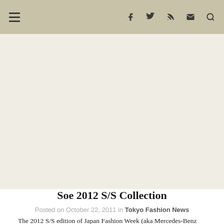≡  f  t  )))  ✉  🔍
[Figure (photo): Large blank/white image area for Soe 2012 S/S Collection fashion photo]
Soe 2012 S/S Collection
Posted on October 22, 2011 in Tokyo Fashion News
The 2012 S/S edition of Japan Fashion Week (aka Mercedes-Benz Fashion Week) in Tokyo is under way! Several times each day, TokyoFashion.com's